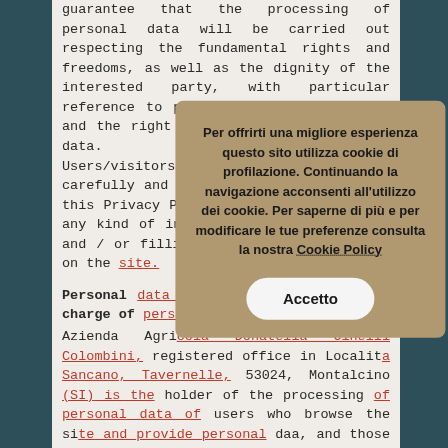guarantee that the processing of personal data will be carried out respecting the fundamental rights and freedoms, as well as the dignity of the interested party, with particular reference to privacy, personal identity and the right to protection of personal data. Users/visitors to the site must read carefully and under their responsibility this Privacy Policy before communicating any kind of information / personal data and / or filling in any electronic form on the site.
Personal data controllers and Person in charge of personal data protection
Azienda Agricola Donatella Cinelli Colombini, registered office in Localita Sancano, Tavernelle, 53024, Montalcino (SI) is the holder of the processing of personal data of users who browse the site and provide personal data, and those related to purchase processes and post sales.
The Data Protection Delegate is Donatella Marcucci, located in Localita Sancano, Tavernelle, 53024, Montalcino (SI). The data concerning users will
Per offrirti una migliore esperienza questo sito utilizza cookie di profilazione. Continuando la navigazione acconsenti all'utilizzo dei cookie. Per saperne di più e per modificare le tue preferenze consulta la nostra Cookie Policy